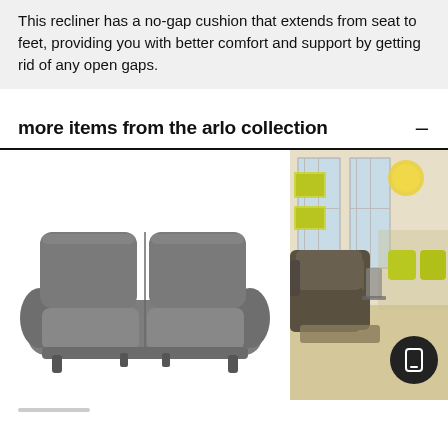This recliner has a no-gap cushion that extends from seat to feet, providing you with better comfort and support by getting rid of any open gaps.
more items from the arlo collection
[Figure (photo): Gray double recliner sofa shown from the front on white background]
[Figure (photo): Living room scene with leather recliner chairs in gray/brown tones, modern decor with yellow-green accents and bright windows]